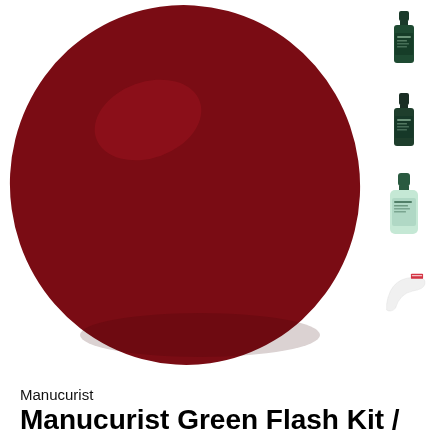[Figure (photo): Large deep crimson/dark red circular color swatch blob, viewed from above on white background. Product color sample for nail polish.]
[Figure (photo): Small thumbnail of a dark green nail polish bottle (Manucurist Green Flash)]
[Figure (photo): Small thumbnail of a dark green nail polish bottle (Manucurist Green Flash), slightly larger cap]
[Figure (photo): Small thumbnail of a light mint/pale green liquid bottle (base or top coat)]
[Figure (photo): Small thumbnail of a white/clear curved nail accessory or nail clip with small red branding text]
Manucurist
Manucurist Green Flash Kit /